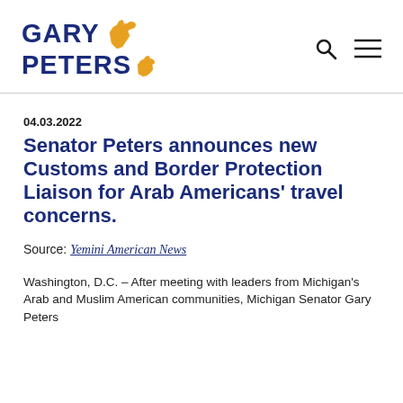Gary Peters
04.03.2022
Senator Peters announces new Customs and Border Protection Liaison for Arab Americans' travel concerns.
Source: Yemini American News
Washington, D.C. – After meeting with leaders from Michigan's Arab and Muslim American communities, Michigan Senator Gary Peters